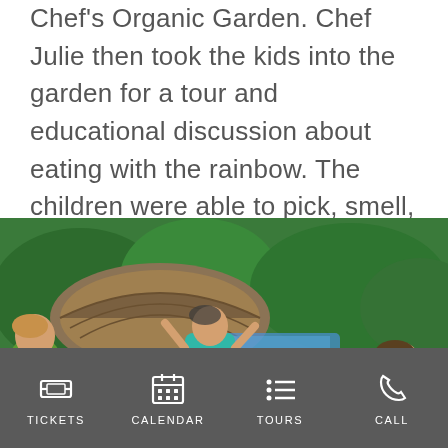Chef's Organic Garden. Chef Julie then took the kids into the garden for a tour and educational discussion about eating with the rainbow. The children were able to pick, smell, eat and learn about organic produce and herbs growing in the garden and how they are brain boosters.
[Figure (photo): A group of children with two adult women in an outdoor tropical garden setting with a thatched-roof structure in the background. The children appear to be engaged in a learning activity.]
TICKETS   CALENDAR   TOURS   CALL